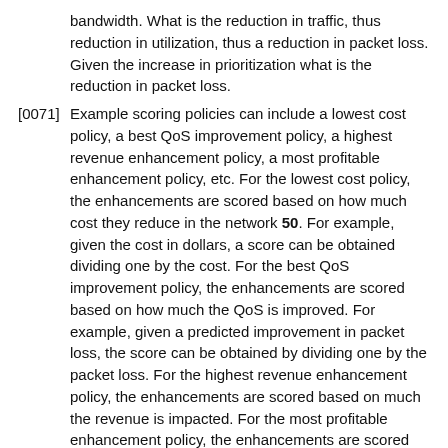bandwidth. What is the reduction in traffic, thus reduction in utilization, thus a reduction in packet loss. Given the increase in prioritization what is the reduction in packet loss.
[0071] Example scoring policies can include a lowest cost policy, a best QoS improvement policy, a highest revenue enhancement policy, a most profitable enhancement policy, etc. For the lowest cost policy, the enhancements are scored based on how much cost they reduce in the network 50. For example, given the cost in dollars, a score can be obtained dividing one by the cost. For the best QoS improvement policy, the enhancements are scored based on how much the QoS is improved. For example, given a predicted improvement in packet loss, the score can be obtained by dividing one by the packet loss. For the highest revenue enhancement policy, the enhancements are scored based on much the revenue is impacted. For the most profitable enhancement policy, the enhancements are scored based on profit. For example, given the incremental cost and revenue associated with each enhancement, their score is